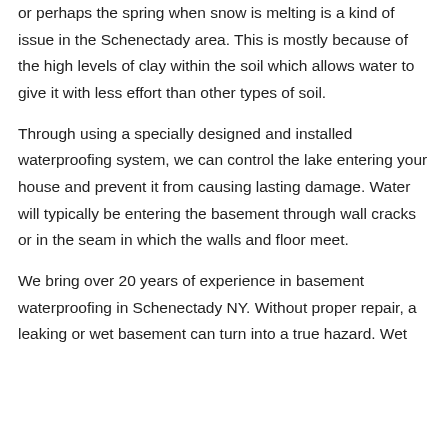or perhaps the spring when snow is melting is a kind of issue in the Schenectady area. This is mostly because of the high levels of clay within the soil which allows water to give it with less effort than other types of soil.
Through using a specially designed and installed waterproofing system, we can control the lake entering your house and prevent it from causing lasting damage. Water will typically be entering the basement through wall cracks or in the seam in which the walls and floor meet.
We bring over 20 years of experience in basement waterproofing in Schenectady NY. Without proper repair, a leaking or wet basement can turn into a true hazard. Wet basements right now could become...